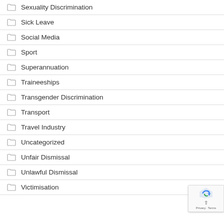Sexuality Discrimination
Sick Leave
Social Media
Sport
Superannuation
Traineeships
Transgender Discrimination
Transport
Travel Industry
Uncategorized
Unfair Dismissal
Unlawful Dismissal
Victimisation